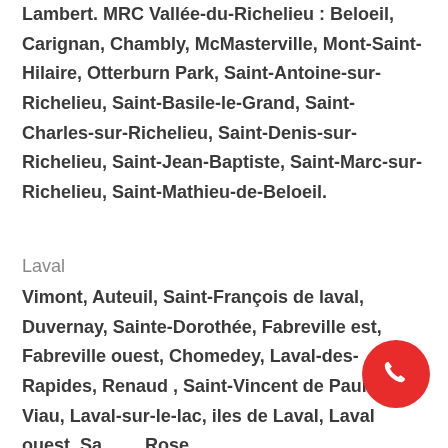Lambert. MRC Vallée-du-Richelieu : Beloeil, Carignan, Chambly, McMasterville, Mont-Saint-Hilaire, Otterburn Park, Saint-Antoine-sur-Richelieu, Saint-Basile-le-Grand, Saint-Charles-sur-Richelieu, Saint-Denis-sur-Richelieu, Saint-Jean-Baptiste, Saint-Marc-sur-Richelieu, Saint-Mathieu-de-Beloeil.
Laval
Vimont, Auteuil, Saint-François de laval, Duvernay, Sainte-Dorothée, Fabreville est, Fabreville ouest, Chomedey, Laval-des-Rapides, Renaud , Saint-Vincent de Paul , Pont Viau, Laval-sur-le-lac, iles de Laval, Laval ouest, Sainte Rose.